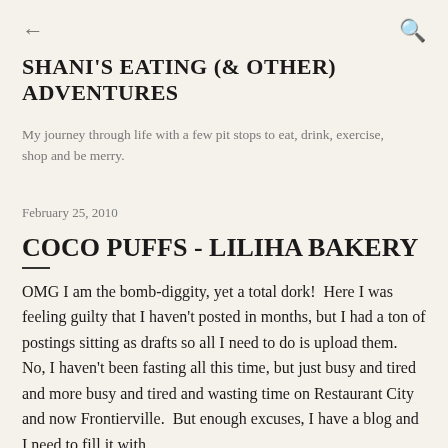← (back) 🔍 (search)
SHANI'S EATING (& OTHER) ADVENTURES
My journey through life with a few pit stops to eat, drink, exercise, shop and be merry.
February 25, 2010
COCO PUFFS - LILIHA BAKERY
OMG I am the bomb-diggity, yet a total dork!  Here I was feeling guilty that I haven't posted in months, but I had a ton of postings sitting as drafts so all I need to do is upload them.  No, I haven't been fasting all this time, but just busy and tired and more busy and tired and wasting time on Restaurant City and now Frontierville.  But enough excuses, I have a blog and I need to fill it with